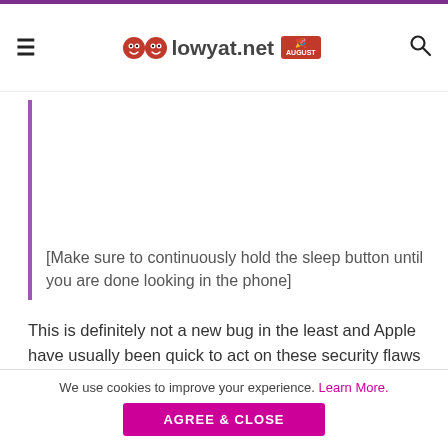lowyat.net
[Make sure to continuously hold the sleep button until you are done looking in the phone]
This is definitely not a new bug in the least and Apple have usually been quick to act on these security flaws on their devices.
(Source: MacRumors)
We use cookies to improve your experience. Learn More.
AGREE & CLOSE